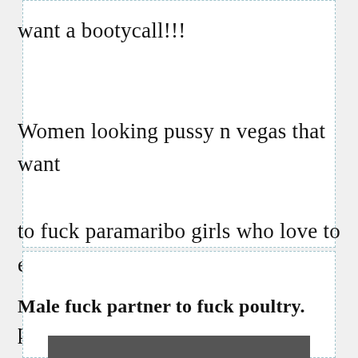want a bootycall!!!

Women looking pussy n vegas that want to fuck paramaribo girls who love to eat pussy.
Male fuck partner to fuck poultry.
[Figure (photo): Partial image visible at bottom of page]